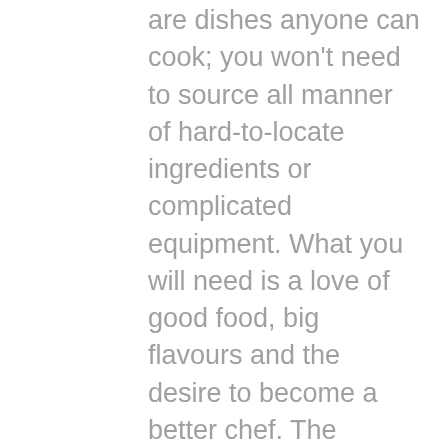are dishes anyone can cook; you won't need to source all manner of hard-to-locate ingredients or complicated equipment. What you will need is a love of good food, big flavours and the desire to become a better chef. The result? Some of the tastiest dishes you'll ever cook and a rekindled love for that hearty British food 'Mama' used to make.